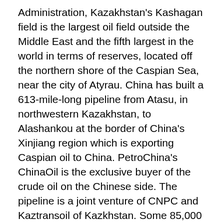Administration, Kazakhstan's Kashagan field is the largest oil field outside the Middle East and the fifth largest in the world in terms of reserves, located off the northern shore of the Caspian Sea, near the city of Atyrau. China has built a 613-mile-long pipeline from Atasu, in northwestern Kazakhstan, to Alashankou at the border of China's Xinjiang region which is exporting Caspian oil to China. PetroChina's ChinaOil is the exclusive buyer of the crude oil on the Chinese side. The pipeline is a joint venture of CNPC and Kaztransoil of Kazkhstan. Some 85,000 bbl/d of Kazakh crude oil flowed through the pipeline during 2007. China's CNPC is also involved in other major energy projects with Kazkhstan. They all traverse China's Xinjiang region.
In 2007 CNPC signed an agreement to invest more than $2 billion to construct a natural gas pipeline from